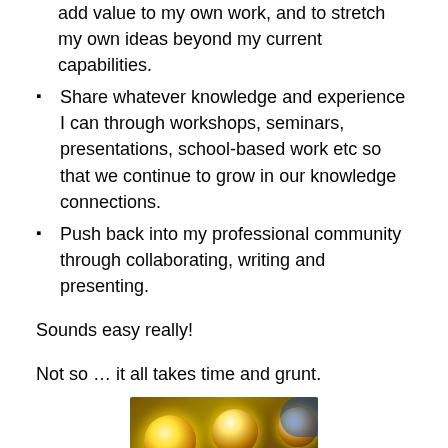add value to my own work, and to stretch my own ideas beyond my current capabilities.
Share whatever knowledge and experience I can through workshops, seminars, presentations, school-based work etc so that we continue to grow in our knowledge connections.
Push back into my professional community through collaborating, writing and presenting.
Sounds easy really!
Not so … it all takes time and grunt.
[Figure (photo): Close-up photo of illuminated golden pinball machine bumpers glowing with warm yellow-orange light against a dark background, with blue accents visible at the right edge.]